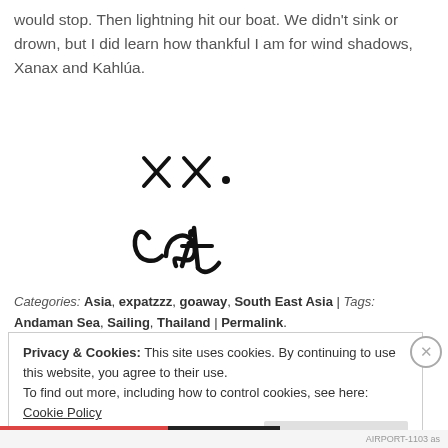would stop. Then lightning hit our boat. We didn't sink or drown, but I did learn how thankful I am for wind shadows, Xanax and Kahlúa.
[Figure (illustration): Handwritten signature reading 'x.x.' on top line and 'cait' in cursive below, in black ink on white background]
Categories: Asia, expatzzz, goaway, South East Asia | Tags: Andaman Sea, Sailing, Thailand | Permalink.
Privacy & Cookies: This site uses cookies. By continuing to use this website, you agree to their use.
To find out more, including how to control cookies, see here: Cookie Policy
AIRPORT-1103 as